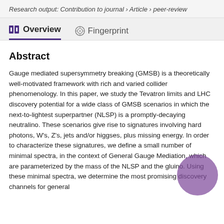Research output: Contribution to journal › Article › peer-review
Overview   Fingerprint
Abstract
Gauge mediated supersymmetry breaking (GMSB) is a theoretically well-motivated framework with rich and varied collider phenomenology. In this paper, we study the Tevatron limits and LHC discovery potential for a wide class of GMSB scenarios in which the next-to-lightest superpartner (NLSP) is a promptly-decaying neutralino. These scenarios give rise to signatures involving hard photons, W's, Z's, jets and/or higgses, plus missing energy. In order to characterize these signatures, we define a small number of minimal spectra, in the context of General Gauge Mediation, which are parameterized by the mass of the NLSP and the gluino. Using these minimal spectra, we determine the most promising discovery channels for general